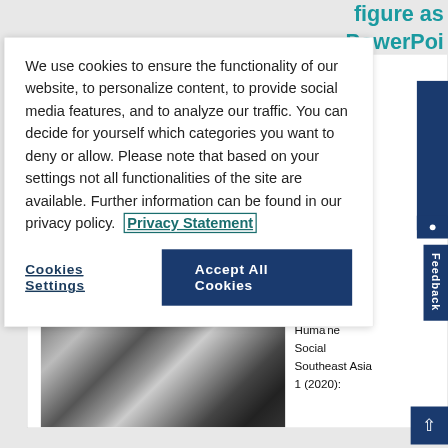figure as PowerPoi
We use cookies to ensure the functionality of our website, to personalize content, to provide social media features, and to analyze our traffic. You can decide for yourself which categories you want to deny or allow. Please note that based on your settings not all functionalities of the site are available. Further information can be found in our privacy policy. Privacy Statement
Cookies Settings
Accept All Cookies
Feedback
Me too
[Figure (photo): Black and white close-up photograph of clasped/folded hands]
Citation: B tot de taal en volkenk Journal of Huma ne Social Southeast Asia 1 (2020):